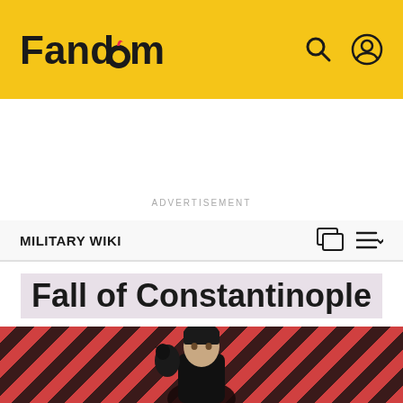Fandom
ADVERTISEMENT
MILITARY WIKI
Fall of Constantinople
[Figure (photo): Promotional image with a person against a red and dark diagonal striped background, holding a dark bird, used as a Fandom advertisement or wiki header image]